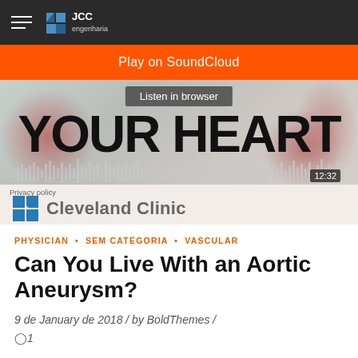JCC engenharia
[Figure (screenshot): SoundCloud embedded audio player for Cleveland Clinic 'Your Heart' podcast. Shows orange 'Play on SoundCloud' bar at top, a 'Listen in browser' overlay, large bold text 'YOUR HEART', audio waveform visualization, timestamp 12:32, Privacy policy text, and Cleveland Clinic logo at bottom.]
PHYSICIAN • SEM CATEGORIA • VASCULAR
Can You Live With an Aortic Aneurysm?
9 de January de 2018  /  by BoldThemes  /  1